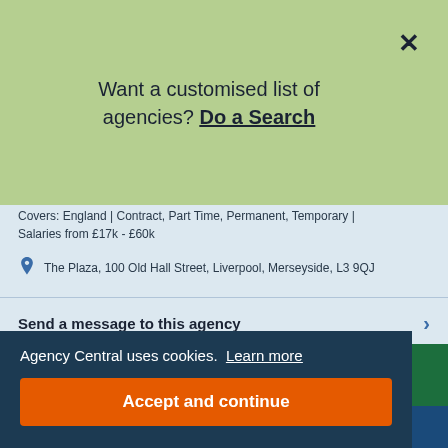Want a customised list of agencies? Do a Search
Covers: England | Contract, Part Time, Permanent, Temporary | Salaries from £17k - £60k
The Plaza, 100 Old Hall Street, Liverpool, Merseyside, L3 9QJ
Send a message to this agency
Display number
Visit website
Agency Central uses cookies. Learn more
Accept and continue
staff quickly with us